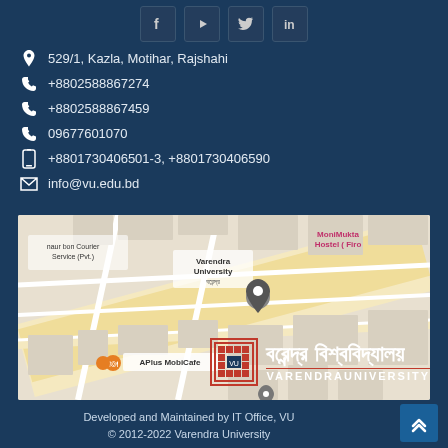[Figure (infographic): Social media icons: Facebook, YouTube, Twitter, LinkedIn]
529/1, Kazla, Motihar, Rajshahi
+8802588867274
+8802588867459
09677601070
+8801730406501-3, +8801730406590
info@vu.edu.bd
[Figure (map): Google Maps view showing Varendra University location at Kazla, Motihar, Rajshahi. Nearby labels: APlus MobiCafe, MoniMukta Hostel (Firo).]
[Figure (logo): Varendra University logo with Bengali text 'বরেন্দ্র বিশ্ববিদ্যালয়' and English 'VARENDRAUNIVERSITY']
Developed and Maintained by IT Office, VU
© 2012-2022 Varendra University